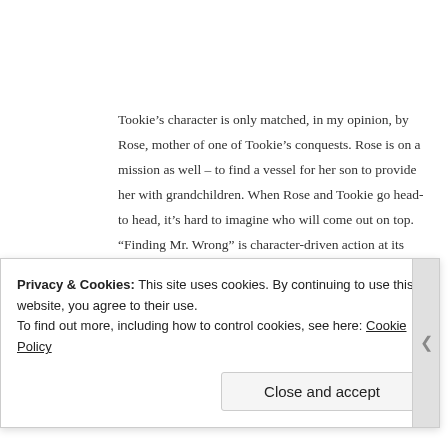Tookie’s character is only matched, in my opinion, by Rose, mother of one of Tookie’s conquests. Rose is on a mission as well – to find a vessel for her son to provide her with grandchildren. When Rose and Tookie go head-to head, it’s hard to imagine who will come out on top. “Finding Mr. Wrong” is character-driven action at its finest.
I have a horrible habit of reading series books out of order, and though “Finding Mr. Wrong” stands solidly
Privacy & Cookies: This site uses cookies. By continuing to use this website, you agree to their use.
To find out more, including how to control cookies, see here: Cookie Policy
Close and accept